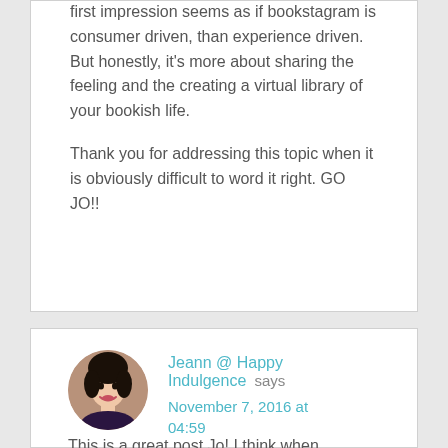first impression seems as if bookstagram is consumer driven, than experience driven. But honestly, it's more about sharing the feeling and the creating a virtual library of your bookish life.
Thank you for addressing this topic when it is obviously difficult to word it right. GO JO!!
Jeann @ Happy Indulgence says November 7, 2016 at 04:59
This is a great post Jo! I think when